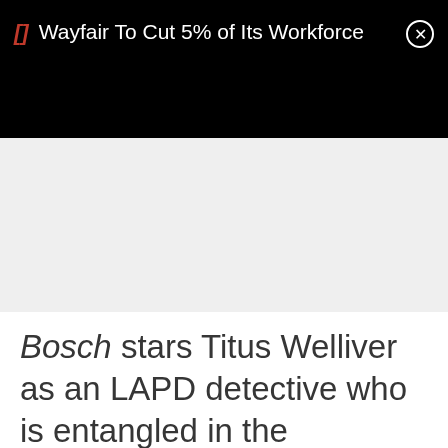Wayfair To Cut 5% of Its Workforce
[Figure (other): Gray placeholder area below notification bar, likely a video or image panel]
Bosch stars Titus Welliver as an LAPD detective who is entangled in the mysterious murder of a teenage boy.